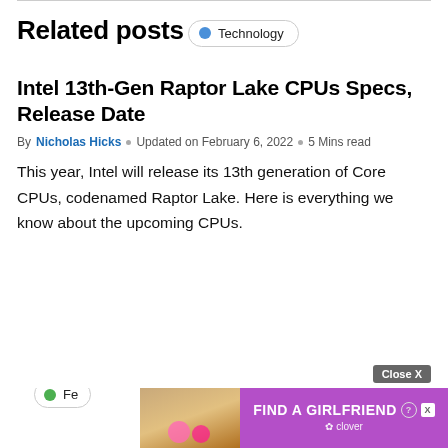Related posts
Technology
Intel 13th-Gen Raptor Lake CPUs Specs, Release Date
By Nicholas Hicks  ◦  Updated on February 6, 2022  ◦  5 Mins read
This year, Intel will release its 13th generation of Core CPUs, codenamed Raptor Lake. Here is everything we know about the upcoming CPUs.
Fe...
[Figure (infographic): Advertisement banner: FIND A GIRLFRIEND with Clover app, purple background, with a photo of a woman and pink hearts, plus a Close X button and help/close icons.]